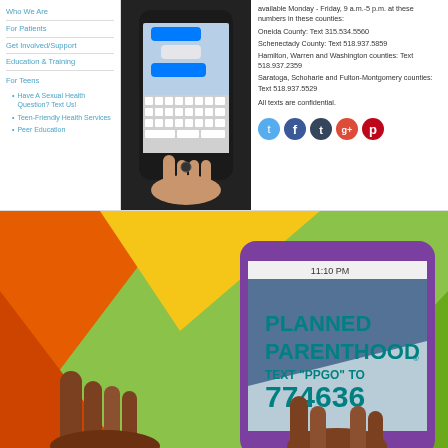Who We Are
For Patients
Get Involved/Support
Education & Training
For Teens
Have A Sexual Health Question? Text Us!
Teen-Friendly Health Services
Peer Education
[Figure (photo): Hand holding a smartphone with text messaging interface visible]
available Monday - Friday, 9 a.m.-5 p.m. at these numbers in these counties: Oneida County: Text 315.534.5560 Schenectady County: Text 518.937.5859 Hamilton, Warren and Washington counties: Text 518.937.2359 Saratoga, Schoharie and Fulton-Montgomery counties: Text 518.937.5529 All texts are confidential.
[Figure (infographic): Planned Parenthood promotional graphic with colorful geometric background showing a smartphone. Text: PLANNED PARENTHOOD, TEXT "PPGO" TO 774636]